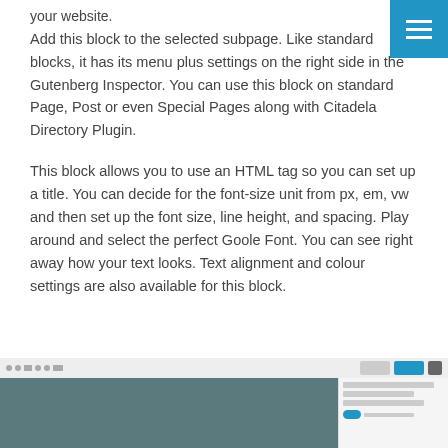your website.
Add this block to the selected subpage. Like standard blocks, it has its menu plus settings on the right side in the Gutenberg Inspector. You can use this block on standard Page, Post or even Special Pages along with Citadela Directory Plugin.
This block allows you to use an HTML tag so you can set up a title. You can decide for the font-size unit from px, em, vw and then set up the font size, line height, and spacing. Play around and select the perfect Goole Font. You can see right away how your text looks. Text alignment and colour settings are also available for this block.
[Figure (screenshot): Screenshot of a Gutenberg editor interface showing a page with an image block selected and settings panel on the right side.]